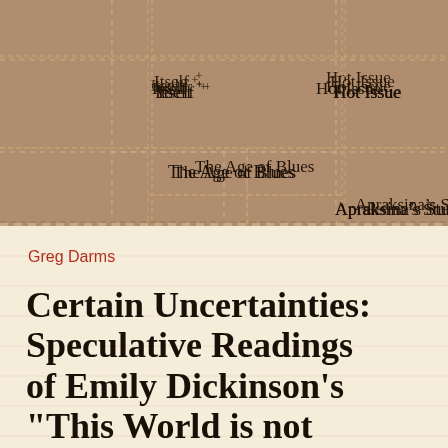[Figure (other): Navigation menu grid with dashed lines and category labels: Itself, Hot Issue, Archival Issues, The Age of Blues, Banquet of Ideas, Apraksina's Studio]
Greg Darms
Certain Uncertainties: Speculative Readings of Emily Dickinson's “This World is not conclusion”